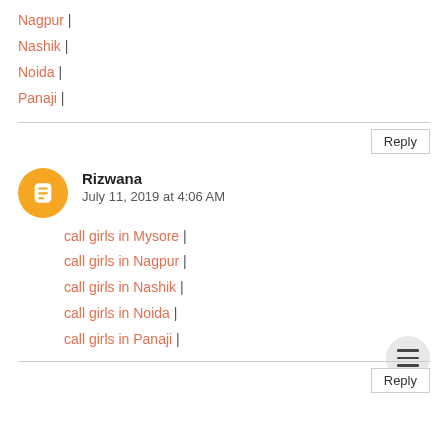Nagpur |
Nashik |
Noida |
Panaji |
Reply
Rizwana
July 11, 2019 at 4:06 AM
call girls in Mysore |
call girls in Nagpur |
call girls in Nashik |
call girls in Noida |
call girls in Panaji |
Reply